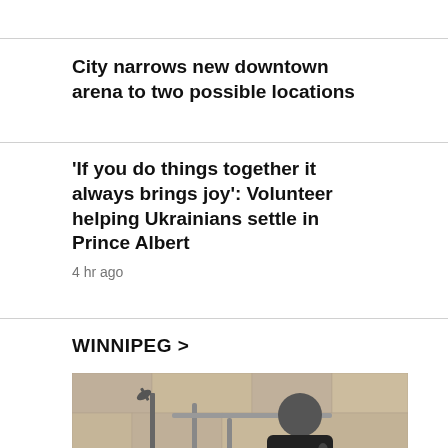City narrows new downtown arena to two possible locations
'If you do things together it always brings joy': Volunteer helping Ukrainians settle in Prince Albert
4 hr ago
WINNIPEG >
[Figure (photo): A young man in a black jacket speaking into a microphone outdoors near stone steps and railings]